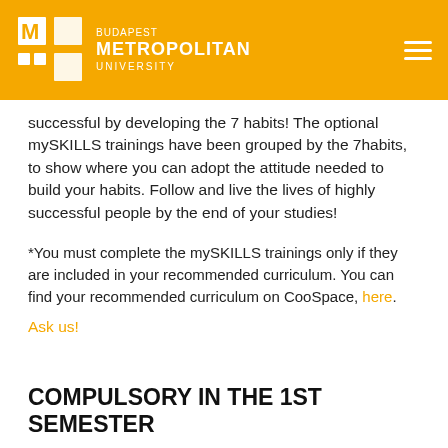Budapest Metropolitan University
successful by developing the 7 habits! The optional mySKILLS trainings have been grouped by the 7habits, to show where you can adopt the attitude needed to build your habits. Follow and live the lives of highly successful people by the end of your studies!
*You must complete the mySKILLS trainings only if they are included in your recommended curriculum. You can find your recommended curriculum on CooSpace, here.
Ask us!
COMPULSORY IN THE 1ST SEMESTER